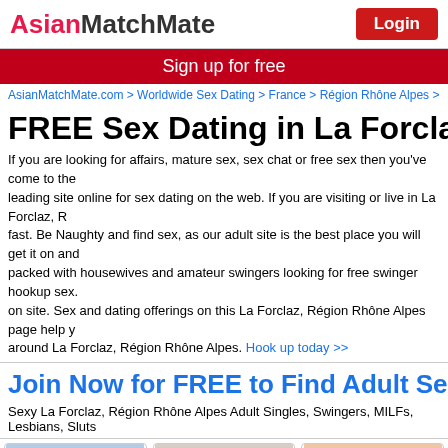AsianMatchMate | Login
Sign up for free
AsianMatchMate.com > Worldwide Sex Dating > France > Région Rhône Alpes >
FREE Sex Dating in La Forclaz,
If you are looking for affairs, mature sex, sex chat or free sex then you've come to the leading site online for sex dating on the web. If you are visiting or live in La Forclaz, fast. Be Naughty and find sex, as our adult site is the best place you will get it on and packed with housewives and amateur swingers looking for free swinger hookup sex. on site. Sex and dating offerings on this La Forclaz, Région Rhône Alpes page help y around La Forclaz, Région Rhône Alpes. Hook up today >>
Join Now for FREE to Find Adult Sex Near La
Sexy La Forclaz, Région Rhône Alpes Adult Singles, Swingers, MILFs, Lesbians, Sluts
[Figure (photo): Profile photo of Ceci560, woman in front of Eiffel Tower]
[Figure (photo): Profile photo of ambrekerv, woman on stairs]
[Figure (photo): Profile photo of rm_Petillante45, woman outdoors]